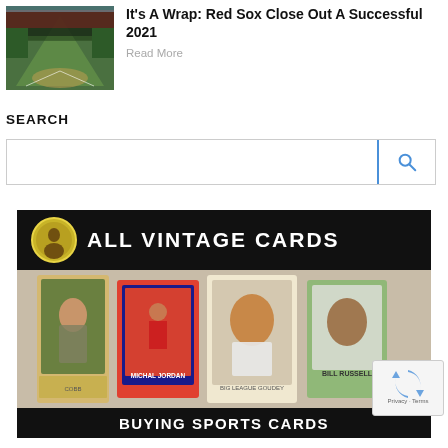[Figure (photo): Aerial view of a baseball field (Fenway Park) filled with spectators, green field visible]
It's A Wrap: Red Sox Close Out A Successful 2021
Read More
SEARCH
[Figure (screenshot): Search bar with text input field and blue search button with magnifying glass icon]
[Figure (logo): All Vintage Cards logo banner - black background with circular portrait icon and white bold text reading ALL VINTAGE CARDS]
[Figure (photo): Collage of vintage sports cards including baseball and basketball cards - Ty Cobb T206, Michael Jordan Fleer rookie, Babe Ruth Goudey, Bill Russell Topps]
BUYING SPORTS CARDS